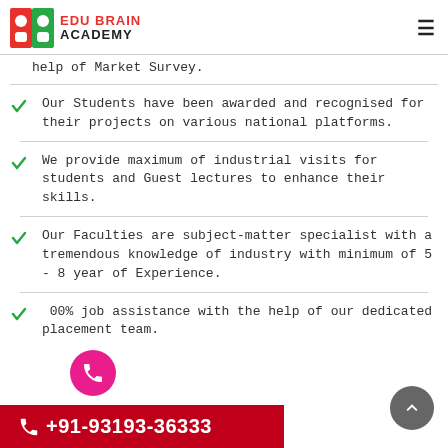EDU BRAIN ACADEMY
help of Market Survey.
Our Students have been awarded and recognised for their projects on various national platforms.
We provide maximum of industrial visits for students and Guest lectures to enhance their skills.
Our Faculties are subject-matter specialist with a tremendous knowledge of industry with minimum of 5 - 8 year of Experience.
100% job assistance with the help of our dedicated placement team.
+91-93193-36333